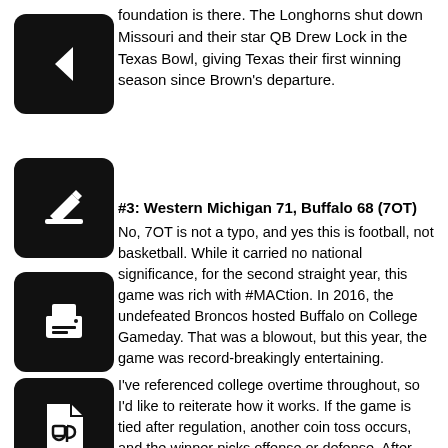foundation is there. The Longhorns shut down Missouri and their star QB Drew Lock in the Texas Bowl, giving Texas their first winning season since Brown's departure.
#3: Western Michigan 71, Buffalo 68 (7OT)
No, 7OT is not a typo, and yes this is football, not basketball. While it carried no national significance, for the second straight year, this game was rich with #MACtion. In 2016, the undefeated Broncos hosted Buffalo on College Gameday. That was a blowout, but this year, the game was record-breakingly entertaining.
I've referenced college overtime throughout, so I'd like to reiterate how it works. If the game is tied after regulation, another coin toss occurs, and the winner picks offense or defense. After that, each team gets one possess per overtime at the opponent's 25-yard line. If it's still tied, it resets, and whoever started with the ball the prior overtime gets the ball second. In the third OT and beyond, teams must go for the 2-point conversion upon scoring a touchdown.
That process happened 7 times in this game- an NCAA record for number of overtimes in a single game, in addition to the record 139 total points scored. The box score became heavily inflated, as Buffalo QB Drew Anderson threw for 597 and 7 touchdowns, while